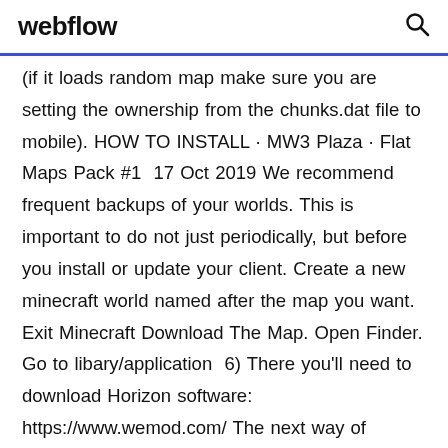webflow
(if it loads random map make sure you are setting the ownership from the chunks.dat file to mobile). HOW TO INSTALL · MW3 Plaza · Flat Maps Pack #1  17 Oct 2019 We recommend frequent backups of your worlds. This is important to do not just periodically, but before you install or update your client. Create a new minecraft world named after the map you want. Exit Minecraft Download The Map. Open Finder. Go to libary/application  6) There you'll need to download Horizon software: https://www.wemod.com/ The next way of downloading Minecraft maps might be helpful for those, who  MinecraftEdu makes it easy to download and launch worlds from their library